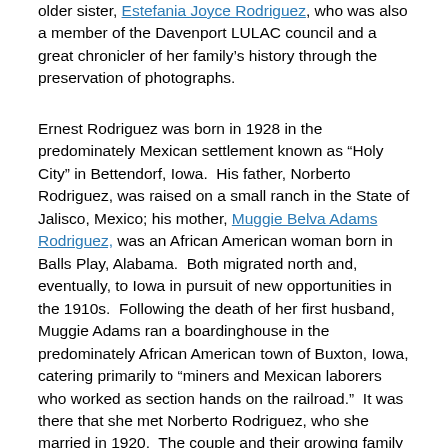older sister, Estefania Joyce Rodriguez, who was also a member of the Davenport LULAC council and a great chronicler of her family's history through the preservation of photographs.
Ernest Rodriguez was born in 1928 in the predominately Mexican settlement known as “Holy City” in Bettendorf, Iowa. His father, Norberto Rodriguez, was raised on a small ranch in the State of Jalisco, Mexico; his mother, Muggie Belva Adams Rodriguez, was an African American woman born in Balls Play, Alabama. Both migrated north and, eventually, to Iowa in pursuit of new opportunities in the 1910s. Following the death of her first husband, Muggie Adams ran a boardinghouse in the predominately African American town of Buxton, Iowa, catering primarily to “miners and Mexican laborers who worked as section hands on the railroad.” It was there that she met Norberto Rodriguez, who she married in 1920. The couple and their growing family settled in Bettendorf, Iowa in 1923.